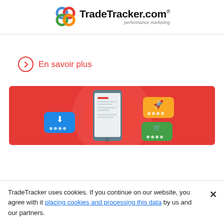[Figure (logo): TradeTracker.com logo with colored rings and tagline 'performance marketing']
En savoir plus
[Figure (illustration): Red banner illustration showing a smartphone with colorful notification bubbles (blue download, yellow rocket, green shopping bag)]
TradeTracker uses cookies. If you continue on our website, you agree with it placing cookies and processing this data by us and our partners.